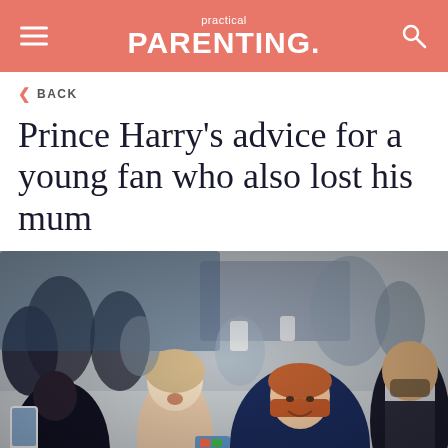practical PARENTING.
< BACK
Prince Harry's advice for a young fan who also lost his mum
[Figure (photo): Prince Harry smiling and greeting fans in a crowd, leaning forward toward excited admirers including a young girl. A bearded man in a white shirt stands to the right. Many people hold phones taking photos in the background.]